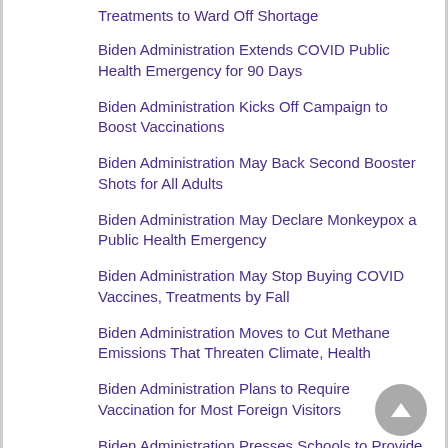Treatments to Ward Off Shortage
Biden Administration Extends COVID Public Health Emergency for 90 Days
Biden Administration Kicks Off Campaign to Boost Vaccinations
Biden Administration May Back Second Booster Shots for All Adults
Biden Administration May Declare Monkeypox a Public Health Emergency
Biden Administration May Stop Buying COVID Vaccines, Treatments by Fall
Biden Administration Moves to Cut Methane Emissions That Threaten Climate, Health
Biden Administration Plans to Require Vaccination for Most Foreign Visitors
Biden Administration Presses Schools to Provide COVID Shots to Kids
Biden Administration to Greatly Expand Food Stamp